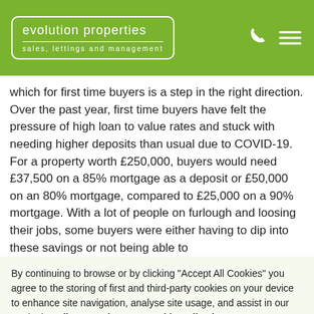[Figure (logo): Evolution Properties logo — white text in rounded rectangle border on green background, with subtitle 'sales, lettings and management']
which for first time buyers is a step in the right direction. Over the past year, first time buyers have felt the pressure of high loan to value rates and stuck with needing higher deposits than usual due to COVID-19. For a property worth £250,000, buyers would need £37,500 on a 85% mortgage as a deposit or £50,000 on an 80% mortgage, compared to £25,000 on a 90% mortgage. With a lot of people on furlough and loosing their jobs, some buyers were either having to dip into these savings or not being able to
continue saving as their income had decreased.
By continuing to browse or by clicking "Accept All Cookies" you agree to the storing of first and third-party cookies on your device to enhance site navigation, analyse site usage, and assist in our marketing efforts. Review our Cookie Policy here
here are offering a 2 year fixed fee saver mortgage with an initial interest rate at 3.99%, followed by currently a
they are also offering a two year fixed standard mortgage with an initial interest rate of 3.69%, followed by currently a 3.54% variable rate with an APR of 3.7%.